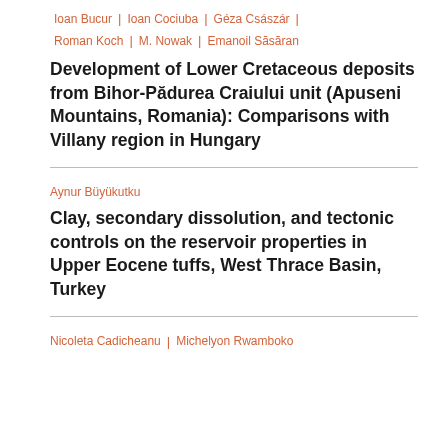Ioan Bucur | Ioan Cociuba | Géza Császár | Roman Koch | M. Nowak | Emanoil Săsăran
Development of Lower Cretaceous deposits from Bihor-Pădurea Craiului unit (Apuseni Mountains, Romania): Comparisons with Villany region in Hungary
Aynur Büyükutku
Clay, secondary dissolution, and tectonic controls on the reservoir properties in Upper Eocene tuffs, West Thrace Basin, Turkey
Nicoleta Cadicheanu | Michelyon Rwamboko